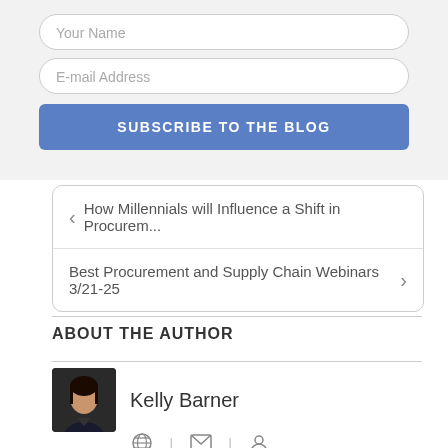Your Name
E-mail Address
SUBSCRIBE TO THE BLOG
< How Millennials will Influence a Shift in Procurem...
Best Procurement and Supply Chain Webinars 3/21-25 >
ABOUT THE AUTHOR
Kelly Barner